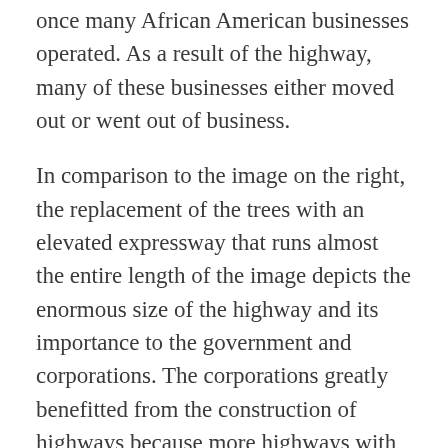once many African American businesses operated. As a result of the highway, many of these businesses either moved out or went out of business.
In comparison to the image on the right, the replacement of the trees with an elevated expressway that runs almost the entire length of the image depicts the enormous size of the highway and its importance to the government and corporations. The corporations greatly benefitted from the construction of highways because more highways with little to no public transportation meant more